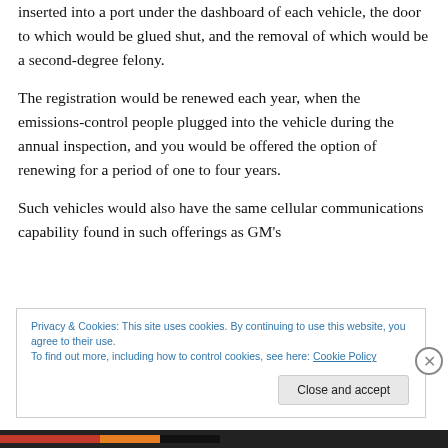inserted into a port under the dashboard of each vehicle, the door to which would be glued shut, and the removal of which would be a second-degree felony.
The registration would be renewed each year, when the emissions-control people plugged into the vehicle during the annual inspection, and you would be offered the option of renewing for a period of one to four years.
Such vehicles would also have the same cellular communications capability found in such offerings as GM's
Privacy & Cookies: This site uses cookies. By continuing to use this website, you agree to their use.
To find out more, including how to control cookies, see here: Cookie Policy